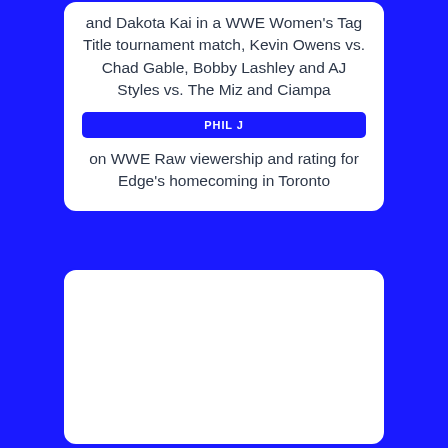and Dakota Kai in a WWE Women’s Tag Title tournament match, Kevin Owens vs. Chad Gable, Bobby Lashley and AJ Styles vs. The Miz and Ciampa
PHIL J
on WWE Raw viewership and rating for Edge’s homecoming in Toronto
[Figure (other): Empty white card with blue border at the bottom of the page]